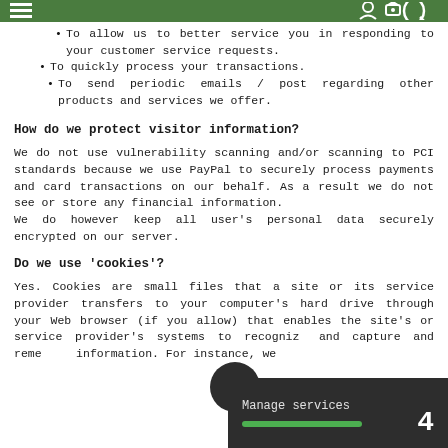Navigation bar with menu icons
To allow us to better service you in responding to your customer service requests.
To quickly process your transactions.
To send periodic emails / post regarding other products and services we offer.
How do we protect visitor information?
We do not use vulnerability scanning and/or scanning to PCI standards because we use PayPal to securely process payments and card transactions on our behalf. As a result we do not see or store any financial information.
We do however keep all user's personal data securely encrypted on our server.
Do we use 'cookies'?
Yes. Cookies are small files that a site or its service provider transfers to your computer's hard drive through your Web browser (if you allow) that enables the site's or service provider's systems to recognize and capture and remember information. For instance, we